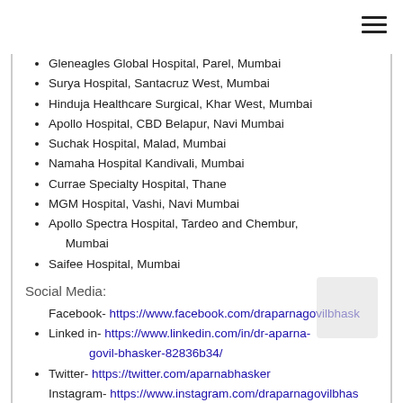Gleneagles Global Hospital, Parel, Mumbai
Surya Hospital, Santacruz West, Mumbai
Hinduja Healthcare Surgical, Khar West, Mumbai
Apollo Hospital, CBD Belapur, Navi Mumbai
Suchak Hospital, Malad, Mumbai
Namaha Hospital Kandivali, Mumbai
Currae Specialty Hospital, Thane
MGM Hospital, Vashi, Navi Mumbai
Apollo Spectra Hospital, Tardeo and Chembur, Mumbai
Saifee Hospital, Mumbai
Social Media:
Facebook- https://www.facebook.com/draparnagovilbhasker
Linked in- https://www.linkedin.com/in/dr-aparna-govil-bhasker-82836b34/
Twitter- https://twitter.com/aparnabhasker
Instagram- https://www.instagram.com/draparnagovilbhasker